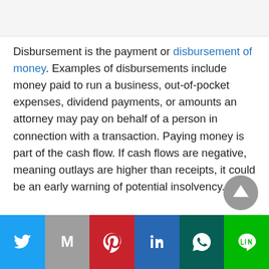Disbursement is the payment or disbursement of money. Examples of disbursements include money paid to run a business, out-of-pocket expenses, dividend payments, or amounts an attorney may pay on behalf of a person in connection with a transaction. Paying money is part of the cash flow. If cash flows are negative, meaning outlays are higher than receipts, it could be an early warning of potential insolvency.
[Figure (other): Social media share buttons bar: Twitter (blue), Gmail (gray), Pinterest (red), LinkedIn (blue), WhatsApp (dark green), Line (green)]